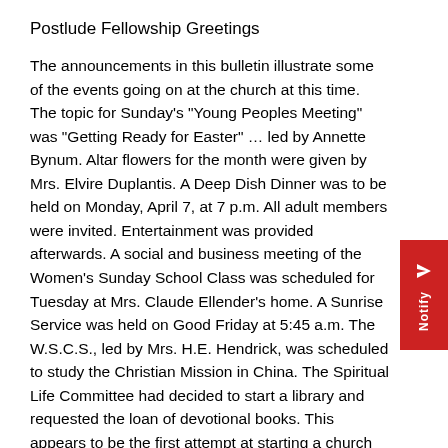Postlude Fellowship Greetings
The announcements in this bulletin illustrate some of the events going on at the church at this time. The topic for Sunday's "Young Peoples Meeting" was "Getting Ready for Easter" … led by Annette Bynum. Altar flowers for the month were given by Mrs. Elvire Duplantis. A Deep Dish Dinner was to be held on Monday, April 7, at 7 p.m. All adult members were invited. Entertainment was provided afterwards. A social and business meeting of the Women's Sunday School Class was scheduled for Tuesday at Mrs. Claude Ellender's home. A Sunrise Service was held on Good Friday at 5:45 a.m. The W.S.C.S., led by Mrs. H.E. Hendrick, was scheduled to study the Christian Mission in China. The Spiritual Life Committee had decided to start a library and requested the loan of devotional books. This appears to be the first attempt at starting a church library.